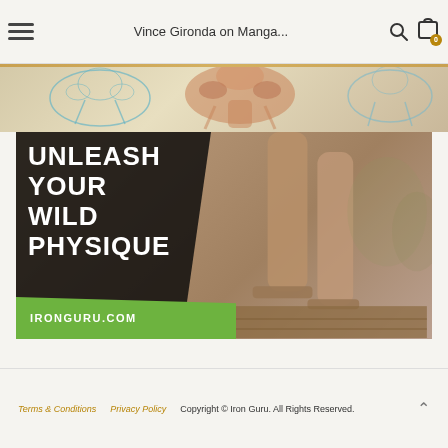Vince Gironda on Manga...
[Figure (photo): Promotional banner for ironguru.com showing a monochrome photo of a muscular person's lower body standing on a wooden platform outdoors, with overlay text 'UNLEASH YOUR WILD PHYSIQUE' in bold white on a dark background, and 'IRONGURU.COM' on a green diagonal banner. The header area features illustrated anatomical muscle/physique sketches in blue and orange tones.]
Terms & Conditions    Privacy Policy    Copyright © Iron Guru. All Rights Reserved.